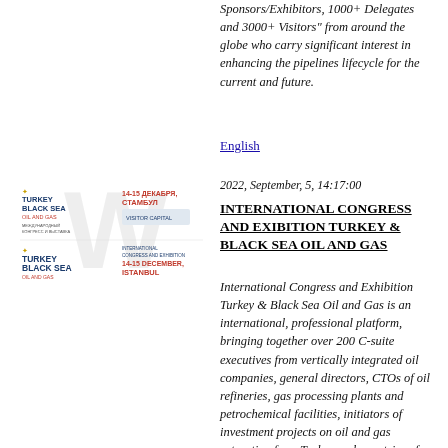Sponsors/Exhibitors, 1000+ Delegates and 3000+ Visitors" from around the globe who carry significant interest in enhancing the pipelines lifecycle for the current and future.
English
[Figure (logo): Turkey Black Sea Oil and Gas International Congress and Exhibition logo, 14-15 December, Istanbul, in Russian and English]
2022, September, 5, 14:17:00
INTERNATIONAL CONGRESS AND EXIBITION TURKEY & BLACK SEA OIL AND GAS
International Congress and Exhibition Turkey & Black Sea Oil and Gas is an international, professional platform, bringing together over 200 C-suite executives from vertically integrated oil companies, general directors, CTOs of oil refineries, gas processing plants and petrochemical facilities, initiators of investment projects on oil and gas extraction from Turkey and countries of the Black Sea area, officials of regulatory authorities, licensors of production technologies and world suppliers for the industry.